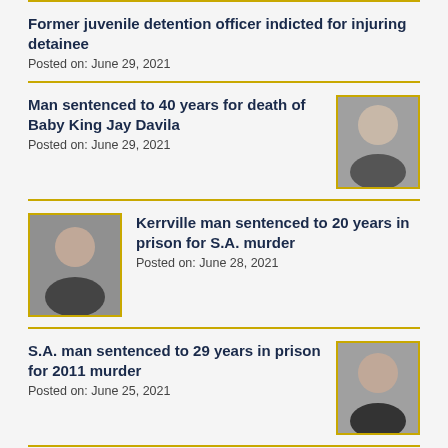Former juvenile detention officer indicted for injuring detainee
Posted on: June 29, 2021
Man sentenced to 40 years for death of Baby King Jay Davila
Posted on: June 29, 2021
[Figure (photo): Mugshot of man sentenced for Baby King Jay Davila case]
Kerrville man sentenced to 20 years in prison for S.A. murder
Posted on: June 28, 2021
[Figure (photo): Mugshot of Kerrville man sentenced for S.A. murder]
S.A. man sentenced to 29 years in prison for 2011 murder
Posted on: June 25, 2021
[Figure (photo): Mugshot of S.A. man sentenced for 2011 murder]
Indictments issued in 2 separate murder cases
Posted on: June 25, 2021